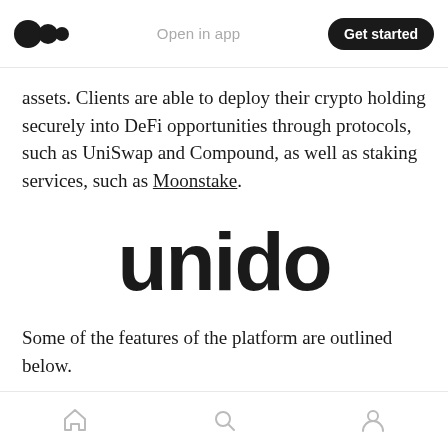Open in app  Get started
assets. Clients are able to deploy their crypto holding securely into DeFi opportunities through protocols, such as UniSwap and Compound, as well as staking services, such as Moonstake.
[Figure (logo): Unido logo — the word 'unido' in large bold rounded sans-serif lowercase letters]
Some of the features of the platform are outlined below.
Self-custodial Crypto Banking Suite